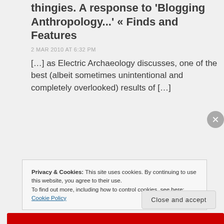thingies. A response to 'Blogging Anthropology...' « Finds and Features
2 MAR 2010 AT 6:32 PM
[…] as Electric Archaeology discusses, one of the best (albeit sometimes unintentional and completely overlooked) results of […]
Privacy & Cookies: This site uses cookies. By continuing to use this website, you agree to their use. To find out more, including how to control cookies, see here: Cookie Policy